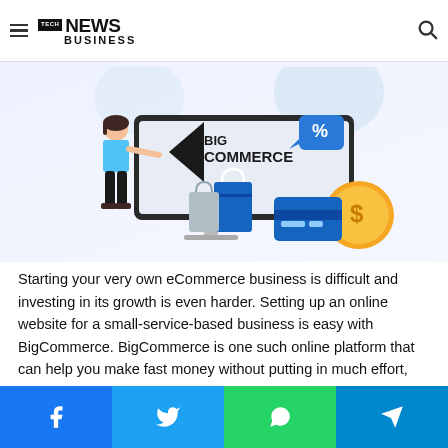Tech News Business
[Figure (illustration): BigCommerce promotional illustration: a woman pointing to a monitor displaying the BigCommerce logo, with shopping bags, a credit card, and gold coins with dollar signs.]
Starting your very own eCommerce business is difficult and investing in its growth is even harder. Setting up an online website for a small-service-based business is easy with BigCommerce. BigCommerce is one such online platform that can help you make fast money without putting in much effort, money, and time. What can be better?
Facebook | Twitter | WhatsApp | Telegram